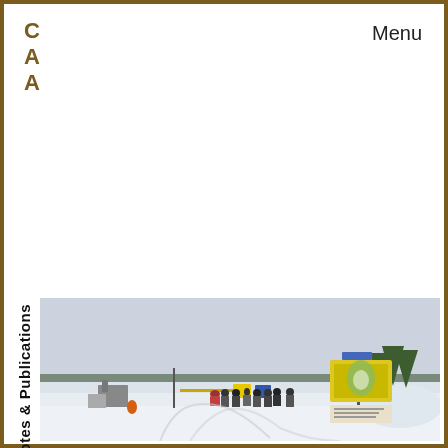C
A
A
Menu
Notes & Publications
[Figure (photo): Winter landscape with a group of people standing near a gate/barrier on a snow-covered road. There are information/map signs on posts to the right, and snow-covered hills and trees in the background under a grey overcast sky.]